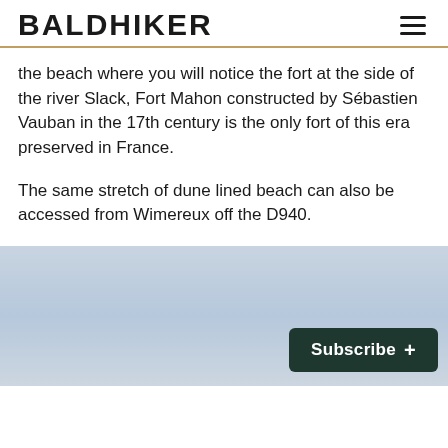BALDHIKER
the beach where you will notice the fort at the side of the river Slack, Fort Mahon constructed by Sébastien Vauban in the 17th century is the only fort of this era preserved in France.
The same stretch of dune lined beach can also be accessed from Wimereux off the D940.
[Figure (photo): A light blue sky with faint cloud texture, serving as background for a beach/coastal scene.]